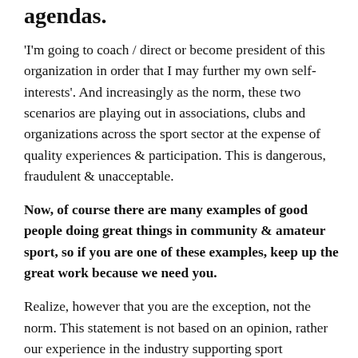agendas.
'I'm going to coach / direct or become president of this organization in order that I may further my own self-interests'. And increasingly as the norm, these two scenarios are playing out in associations, clubs and organizations across the sport sector at the expense of quality experiences & participation. This is dangerous, fraudulent & unacceptable.
Now, of course there are many examples of good people doing great things in community & amateur sport, so if you are one of these examples, keep up the great work because we need you.
Realize, however that you are the exception, not the norm. This statement is not based on an opinion, rather our experience in the industry supporting sport